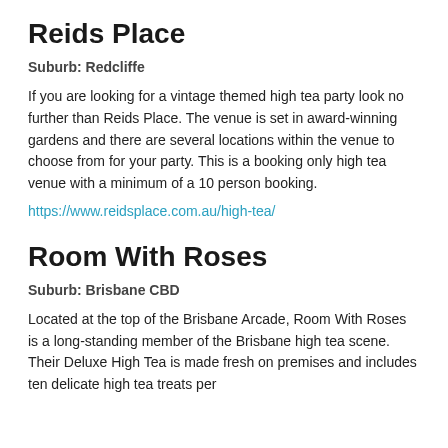Reids Place
Suburb: Redcliffe
If you are looking for a vintage themed high tea party look no further than Reids Place. The venue is set in award-winning gardens and there are several locations within the venue to choose from for your party. This is a booking only high tea venue with a minimum of a 10 person booking.
https://www.reidsplace.com.au/high-tea/
Room With Roses
Suburb: Brisbane CBD
Located at the top of the Brisbane Arcade, Room With Roses is a long-standing member of the Brisbane high tea scene. Their Deluxe High Tea is made fresh on premises and includes ten delicate high tea treats per